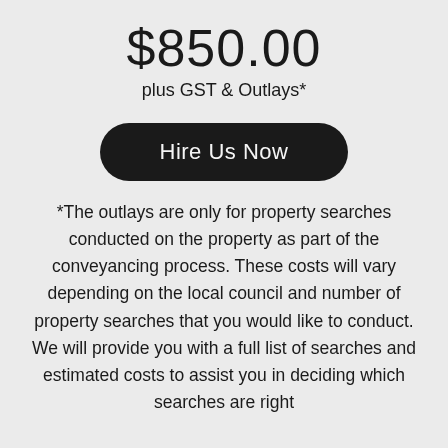$850.00
plus GST & Outlays*
Hire Us Now
*The outlays are only for property searches conducted on the property as part of the conveyancing process. These costs will vary depending on the local council and number of property searches that you would like to conduct. We will provide you with a full list of searches and estimated costs to assist you in deciding which searches are right